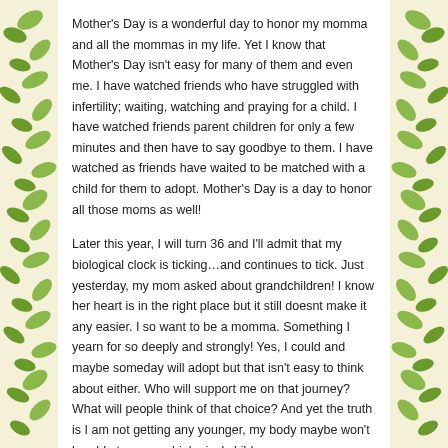Mother's Day is a wonderful day to honor my momma and all the mommas in my life. Yet I know that Mother's Day isn't easy for many of them and even me. I have watched friends who have struggled with infertility; waiting, watching and praying for a child. I have watched friends parent children for only a few minutes and then have to say goodbye to them. I have watched as friends have waited to be matched with a child for them to adopt. Mother's Day is a day to honor all those moms as well!
Later this year, I will turn 36 and I'll admit that my biological clock is ticking…and continues to tick. Just yesterday, my mom asked about grandchildren! I know her heart is in the right place but it still doesnt make it any easier. I so want to be a momma. Something I yearn for so deeply and strongly! Yes, I could and maybe someday will adopt but that isn't easy to think about either. Who will support me on that journey? What will people think of that choice? And yet the truth is I am not getting any younger, my body maybe won't be able to carry a biological child. And yet that is also a reminder that I may be able to...